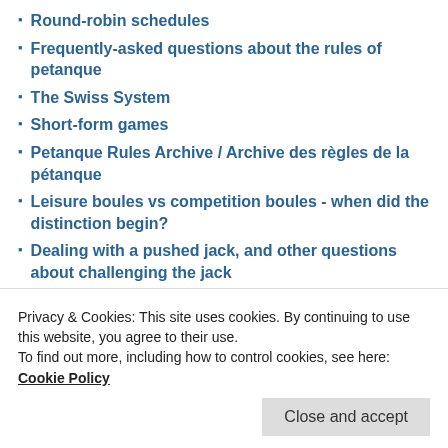Round-robin schedules
Frequently-asked questions about the rules of petanque
The Swiss System
Short-form games
Petanque Rules Archive / Archive des règles de la pétanque
Leisure boules vs competition boules - when did the distinction begin?
Dealing with a pushed jack, and other questions about challenging the jack
RECENT POSTS
Leisure boules vs competition boules – when did the
Privacy & Cookies: This site uses cookies. By continuing to use this website, you agree to their use.
To find out more, including how to control cookies, see here: Cookie Policy
Close and accept